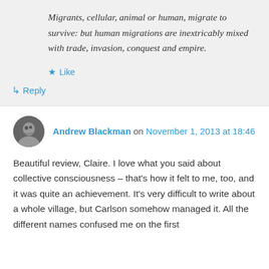Migrants, cellular, animal or human, migrate to survive: but human migrations are inextricably mixed with trade, invasion, conquest and empire.
★ Like
↳ Reply
Andrew Blackman on November 1, 2013 at 18:46
Beautiful review, Claire. I love what you said about collective consciousness – that's how it felt to me, too, and it was quite an achievement. It's very difficult to write about a whole village, but Carlson somehow managed it. All the different names confused me on the first